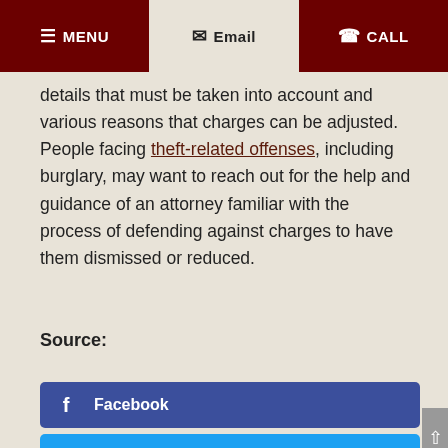MENU  Email  CALL
details that must be taken into account and various reasons that charges can be adjusted. People facing theft-related offenses, including burglary, may want to reach out for the help and guidance of an attorney familiar with the process of defending against charges to have them dismissed or reduced.
Source:
[Figure (screenshot): Social share buttons: Facebook, Twitter, LinkedIn]